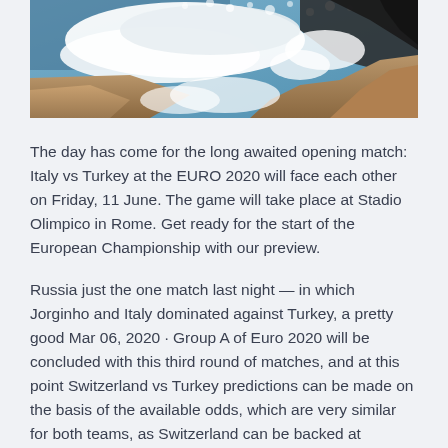[Figure (photo): Aerial or close-up photo of waves crashing against rocky coastline with white foam and brown rocks visible]
The day has come for the long awaited opening match: Italy vs Turkey at the EURO 2020 will face each other on Friday, 11 June. The game will take place at Stadio Olimpico in Rome. Get ready for the start of the European Championship with our preview.
Russia just the one match last night — in which Jorginho and Italy dominated against Turkey, a pretty good Mar 06, 2020 · Group A of Euro 2020 will be concluded with this third round of matches, and at this point Switzerland vs Turkey predictions can be made on the basis of the available odds, which are very similar for both teams, as Switzerland can be backed at